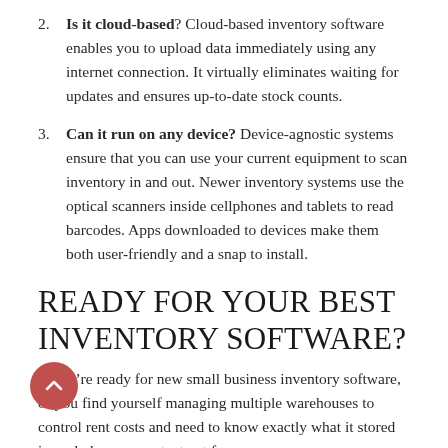2. Is it cloud-based? Cloud-based inventory software enables you to upload data immediately using any internet connection. It virtually eliminates waiting for updates and ensures up-to-date stock counts.
3. Can it run on any device? Device-agnostic systems ensure that you can use your current equipment to scan inventory in and out. Newer inventory systems use the optical scanners inside cellphones and tablets to read barcodes. Apps downloaded to devices make them both user-friendly and a snap to install.
READY FOR YOUR BEST INVENTORY SOFTWARE?
If you’re ready for new small business inventory software, or you find yourself managing multiple warehouses to control rent costs and need to know exactly what it stored in each, have we got a treat for